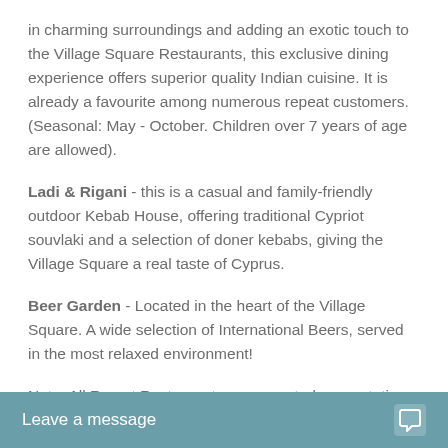in charming surroundings and adding an exotic touch to the Village Square Restaurants, this exclusive dining experience offers superior quality Indian cuisine. It is already a favourite among numerous repeat customers. (Seasonal: May - October. Children over 7 years of age are allowed).
Ladi & Rigani - this is a casual and family-friendly outdoor Kebab House, offering traditional Cypriot souvlaki and a selection of doner kebabs, giving the Village Square a real taste of Cyprus.
Beer Garden - Located in the heart of the Village Square. A wide selection of International Beers, served in the most relaxed environment!
Note: All Resort Restaurants are operated on a rotation basis and in accordance
Leave a message